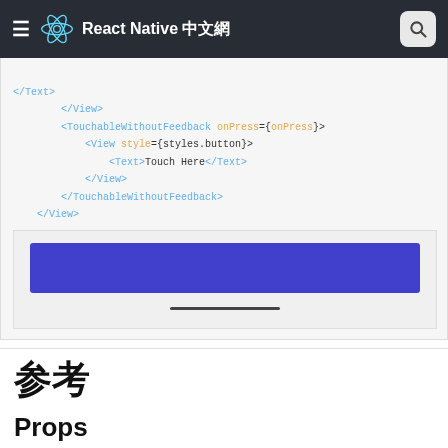React Native 中文網
[Figure (screenshot): Code block showing JSX with TouchableWithoutFeedback component and a blue button preview below]
参考
Props